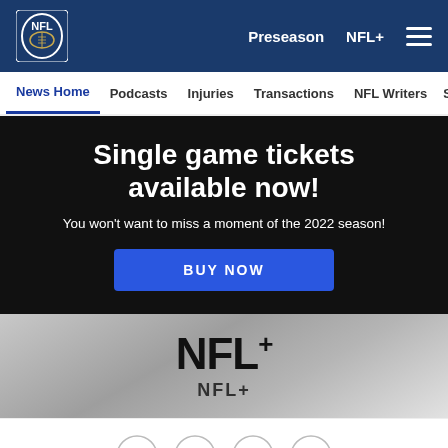NFL - Preseason NFL+
News Home | Podcasts | Injuries | Transactions | NFL Writers | Se
Single game tickets available now!
You won't want to miss a moment of the 2022 season!
BUY NOW
[Figure (logo): NFL+ logo with stylized NFL+ text on silver/gray gradient background]
NFL+ (partially visible tagline)
Share icons: Facebook, Twitter, Email, Link